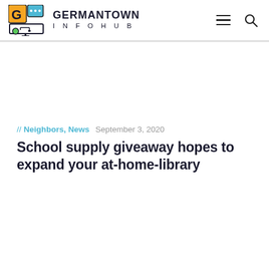GERMANTOWN INFOHUB
// Neighbors, News   September 3, 2020
School supply giveaway hopes to expand your at-home-library